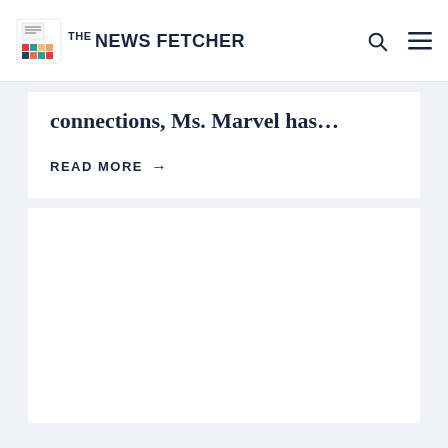THE NEWS FETCHER
connections, Ms. Marvel has…
READ MORE →